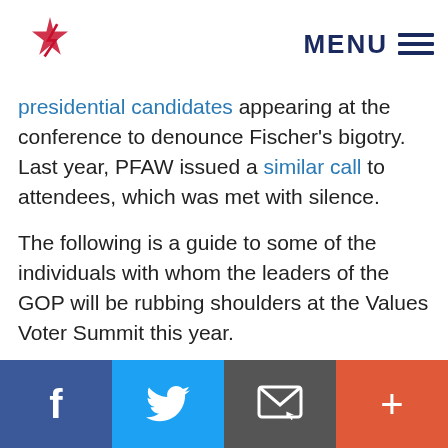MENU
presidential candidates appearing at the conference to denounce Fischer’s bigotry. Last year, PFAW issued a similar call to attendees, which was met with silence.
The following is a guide to some of the individuals with whom the leaders of the GOP will be rubbing shoulders at the Values Voter Summit this year.
Bryan Fischer
Bryan Fischer is the Director of Issues Analysis at the American Family Association, which is a sponsor of the Values Voter Summit. Fischer acts
f    ✉  +